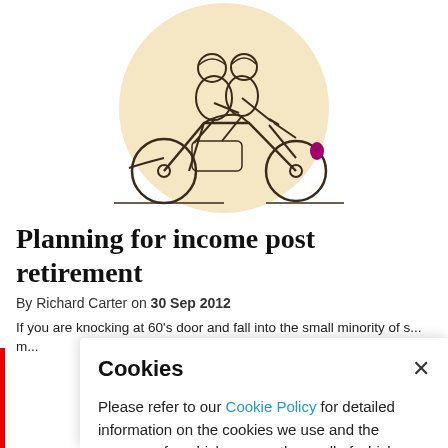[Figure (illustration): Line illustration of two people riding a motorcycle, set on a pale yellow/cream circular background. The couple is drawn in a simple outline style with the motorcycle facing right.]
Planning for income post retirement
By Richard Carter on 30 Sep 2012
If you are knocking at 60's door and fall into the small minority of s... m...
Cookies
Please refer to our Cookie Policy for detailed information on the cookies we use and the purposes for which we use them, all of which are essential for the operation of our website.